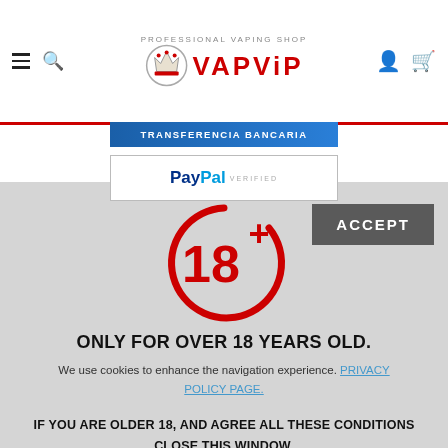VAPViP - Professional Vaping Shop header with navigation
[Figure (screenshot): Transferencia Bancaria payment banner]
[Figure (screenshot): PayPal Verified payment banner]
[Figure (infographic): 18+ age restriction circular icon in red]
ONLY FOR OVER 18 YEARS OLD.
We use cookies to enhance the navigation experience. PRIVACY POLICY PAGE.
IF YOU ARE OLDER 18, AND AGREE ALL THESE CONDITIONS CLOSE THIS WINDOW.